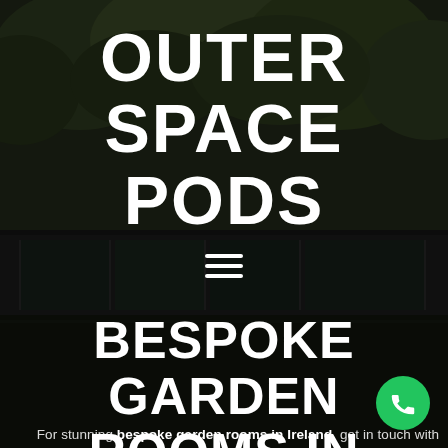[Figure (photo): Background photo of a modern garden room / pod structure with dark frame and glass walls, surrounded by green trees, with dark overlay]
OUTER SPACE PODS
[Figure (other): Hamburger menu icon — three horizontal white lines]
BESPOKE GARDEN ROOMS IN IRELAND
For stunning bespoke garden rooms in Ireland, get in touch with
[Figure (other): Green circular phone call button in the bottom-right corner]